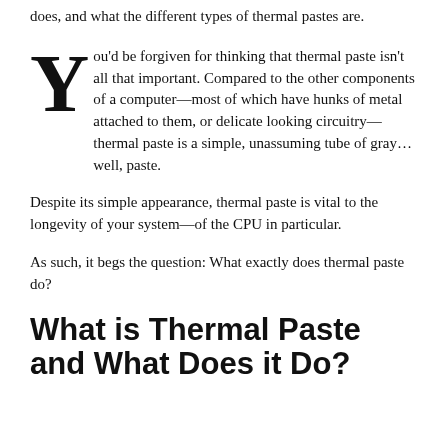does, and what the different types of thermal pastes are.
You'd be forgiven for thinking that thermal paste isn't all that important. Compared to the other components of a computer—most of which have hunks of metal attached to them, or delicate looking circuitry—thermal paste is a simple, unassuming tube of gray… well, paste.
Despite its simple appearance, thermal paste is vital to the longevity of your system—of the CPU in particular.
As such, it begs the question: What exactly does thermal paste do?
What is Thermal Paste and What Does it Do?